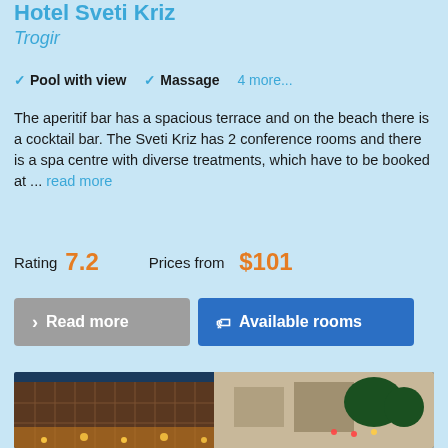Hotel Sveti Kriz
Trogir
✓ Pool with view  ✓ Massage  4 more...
The aperitif bar has a spacious terrace and on the beach there is a cocktail bar. The Sveti Kriz has 2 conference rooms and there is a spa centre with diverse treatments, which have to be booked at ... read more
Rating 7.2    Prices from $101
[Figure (screenshot): Two buttons: 'Read more' (gray) and 'Available rooms' (blue)]
[Figure (photo): Hotel exterior at dusk/night showing a modern multi-story building with warm lights, glass facade, and vegetation]